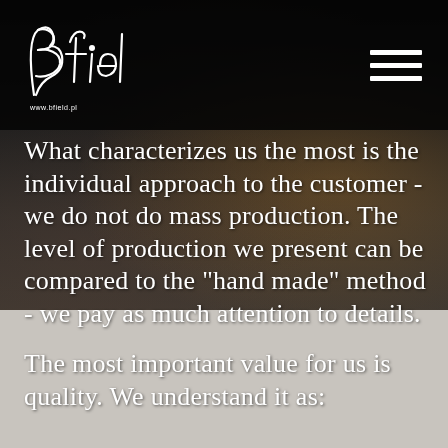[Figure (logo): Bfield company logo in white cursive script with website URL www.bfield.pl below]
What characterizes us the most is the individual approach to the customer - we do not do mass production. The level of production we present can be compared to the "hand made" method - we pay as much attention to details.
The most important value for us is quality. We understand it as: